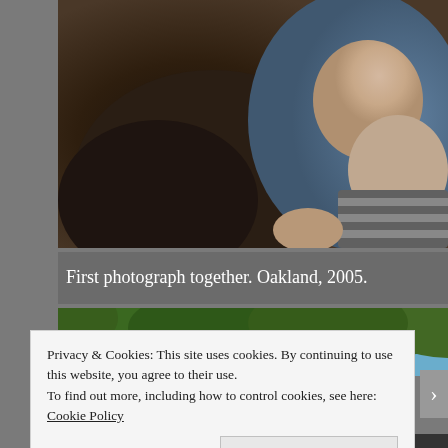[Figure (photo): A person holding a newborn baby. The adult is wearing a dark brown/charcoal long-sleeve top. The baby is wrapped and appears very small. Background shows blue fabric. Black and white striped fabric visible at bottom right.]
First photograph together. Oakland, 2005.
[Figure (photo): Outdoor photo showing green trees/foliage in the background. Only the top portion is visible.]
Privacy & Cookies: This site uses cookies. By continuing to use this website, you agree to their use.
To find out more, including how to control cookies, see here: Cookie Policy
Close and accept